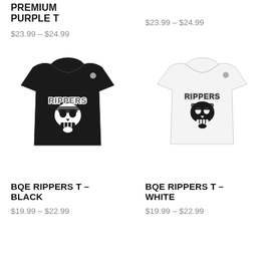PREMIUM PURPLE T
$23.99 – $24.99
GRIZZLY T
$23.99 – $24.99
[Figure (photo): Black t-shirt with Rippers skull graphic on front]
[Figure (photo): White t-shirt with Rippers skull graphic on front]
BQE RIPPERS T – BLACK
$19.99 – $22.99
BQE RIPPERS T – WHITE
$19.99 – $22.99